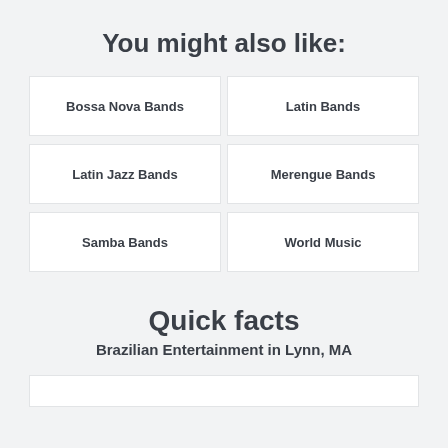You might also like:
Bossa Nova Bands
Latin Bands
Latin Jazz Bands
Merengue Bands
Samba Bands
World Music
Quick facts
Brazilian Entertainment in Lynn, MA